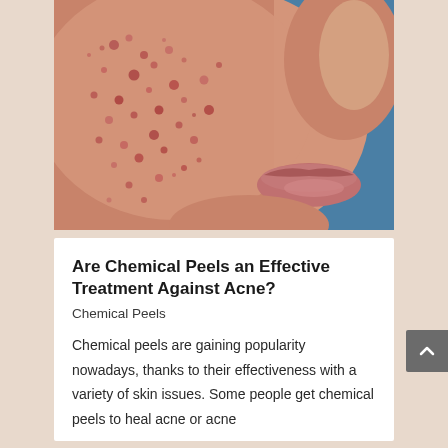[Figure (photo): Close-up photograph of a person's cheek and lower face showing acne and skin blemishes against a blue background]
Are Chemical Peels an Effective Treatment Against Acne?
Chemical Peels
Chemical peels are gaining popularity nowadays, thanks to their effectiveness with a variety of skin issues. Some people get chemical peels to heal acne or acne